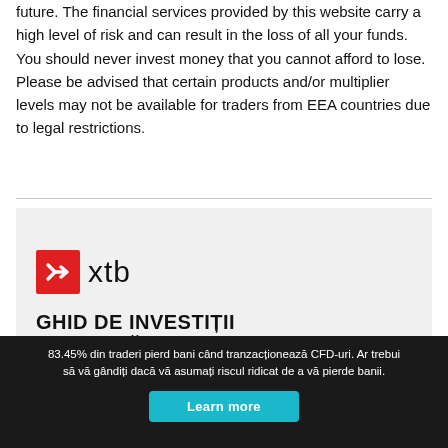future. The financial services provided by this website carry a high level of risk and can result in the loss of all your funds. You should never invest money that you cannot afford to lose. Please be advised that certain products and/or multiplier levels may not be available for traders from EEA countries due to legal restrictions.
[Figure (logo): XTB logo with red square icon containing a white X arrow and 'xtb' text, followed by bold uppercase text 'GHID DE INVESTIȚII LA BURSĂ']
83.45% din traderi pierd bani când tranzacționează CFD-uri. Ar trebui să vă gândiți dacă vă asumați riscul ridicat de a vă pierde banii.
Learn more